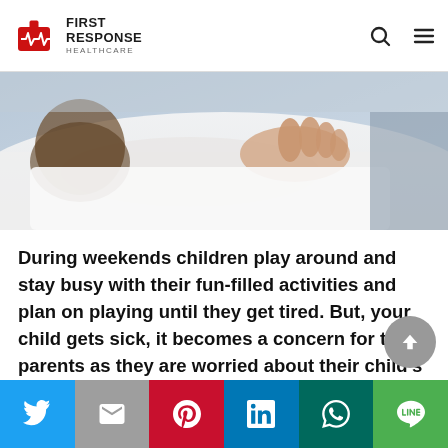[Figure (logo): First Response Healthcare logo with red medical kit icon and text]
[Figure (photo): Child resting in bed with an adult's hand on their chest, suggesting illness or comfort]
During weekends children play around and stay busy with their fun-filled activities and plan on playing until they get tired. But, your child gets sick, it becomes a concern for the parents as they are worried about their child's health and have to review options of seeking help from a healthcare provider.
[Figure (other): Social sharing bar with Twitter, Gmail, Pinterest, LinkedIn, WhatsApp, and Line buttons]